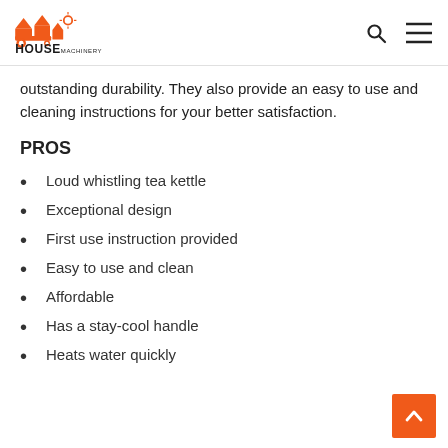HOUSE MACHINERY
outstanding durability. They also provide an easy to use and cleaning instructions for your better satisfaction.
PROS
Loud whistling tea kettle
Exceptional design
First use instruction provided
Easy to use and clean
Affordable
Has a stay-cool handle
Heats water quickly